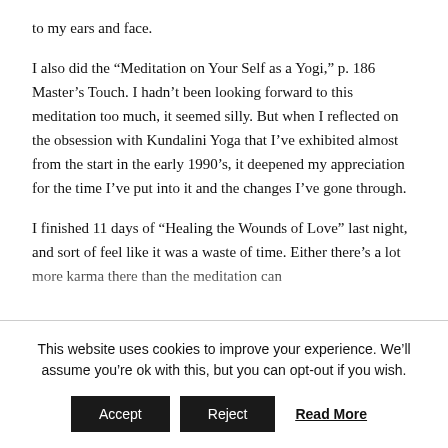to my ears and face.
I also did the “Meditation on Your Self as a Yogi,” p. 186 Master’s Touch. I hadn’t been looking forward to this meditation too much, it seemed silly. But when I reflected on the obsession with Kundalini Yoga that I’ve exhibited almost from the start in the early 1990’s, it deepened my appreciation for the time I’ve put into it and the changes I’ve gone through.
I finished 11 days of “Healing the Wounds of Love” last night, and sort of feel like it was a waste of time. Either there’s a lot more karma there than the meditation can
This website uses cookies to improve your experience. We’ll assume you’re ok with this, but you can opt-out if you wish.